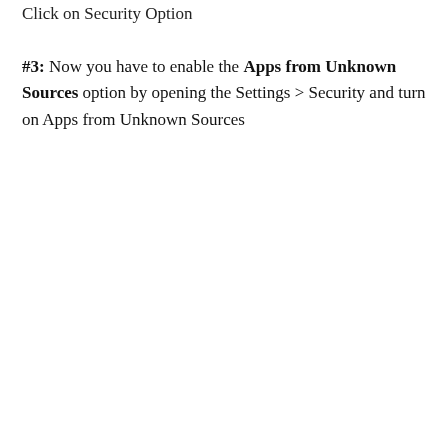Click on Security Option
#3: Now you have to enable the Apps from Unknown Sources option by opening the Settings > Security and turn on Apps from Unknown Sources